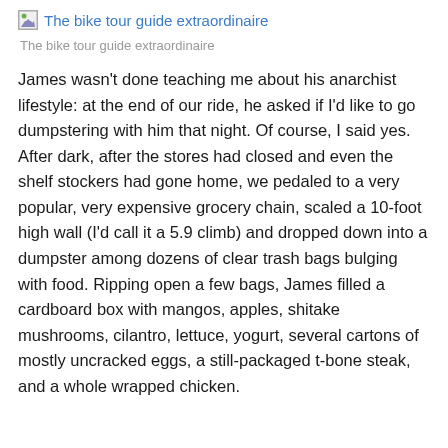[Figure (other): Broken image placeholder icon with link text 'The bike tour guide extraordinaire']
The bike tour guide extraordinaire
James wasn't done teaching me about his anarchist lifestyle: at the end of our ride, he asked if I'd like to go dumpstering with him that night. Of course, I said yes. After dark, after the stores had closed and even the shelf stockers had gone home, we pedaled to a very popular, very expensive grocery chain, scaled a 10-foot high wall (I'd call it a 5.9 climb) and dropped down into a dumpster among dozens of clear trash bags bulging with food. Ripping open a few bags, James filled a cardboard box with mangos, apples, shitake mushrooms, cilantro, lettuce, yogurt, several cartons of mostly uncracked eggs, a still-packaged t-bone steak, and a whole wrapped chicken.